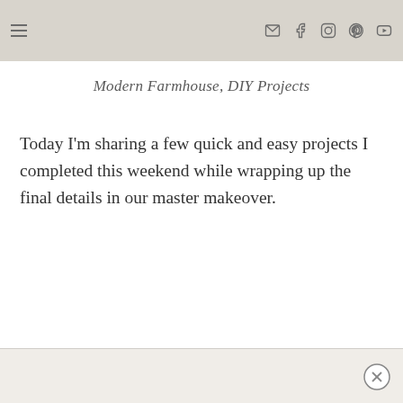≡  [email icon] [facebook icon] [instagram icon] [pinterest icon] [youtube icon]
Modern Farmhouse, DIY Projects
Today I'm sharing a few quick and easy projects I completed this weekend while wrapping up the final details in our master makeover.